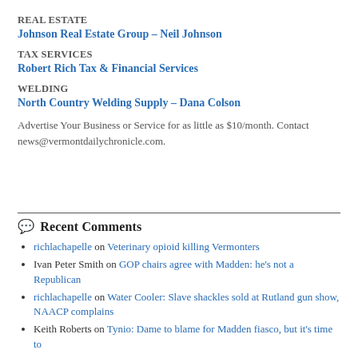REAL ESTATE
Johnson Real Estate Group – Neil Johnson
TAX SERVICES
Robert Rich Tax & Financial Services
WELDING
North Country Welding Supply – Dana Colson
Advertise Your Business or Service for as little as $10/month. Contact news@vermontdailychronicle.com.
Recent Comments
richlachapelle on Veterinary opioid killing Vermonters
Ivan Peter Smith on GOP chairs agree with Madden: he's not a Republican
richlachapelle on Water Cooler: Slave shackles sold at Rutland gun show, NAACP complains
Keith Roberts on Tynio: Dame to blame for Madden fiasco, but it's time to